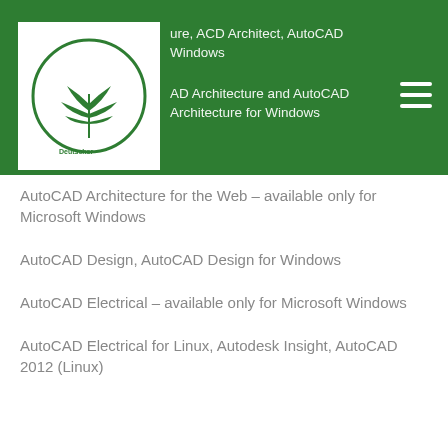[Figure (logo): Deutscher Hanfverband Braunschweig logo — circular green border with stylized hemp leaf and text inside a white square box]
AutoCAD Architecture, ACD Architect, AutoCAD for Windows

AutoCAD Architecture and AutoCAD Architecture for Windows
AutoCAD Architecture for the Web – available only for Microsoft Windows
AutoCAD Design, AutoCAD Design for Windows
AutoCAD Electrical – available only for Microsoft Windows
AutoCAD Electrical for Linux, Autodesk Insight, AutoCAD 2012 (Linux)